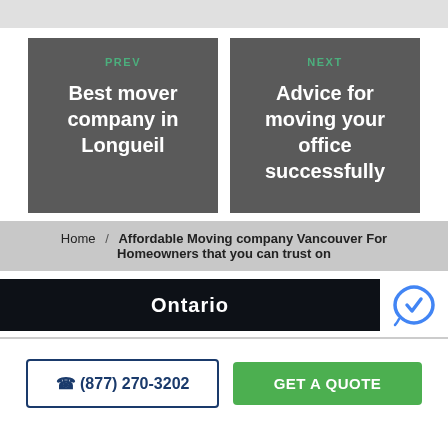[Figure (screenshot): Top gray bar area]
PREV
Best mover company in Longueil
NEXT
Advice for moving your office successfully
Home / Affordable Moving company Vancouver For Homeowners that you can trust on
Ontario
☎ (877) 270-3202
GET A QUOTE